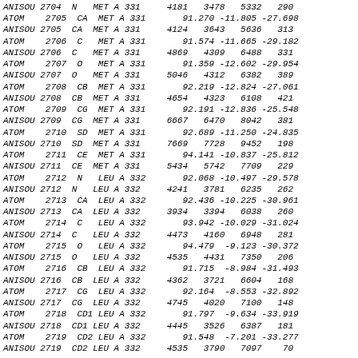PDB crystallographic data records (ATOM/ANISOU) for MET A 331 and LEU A 332